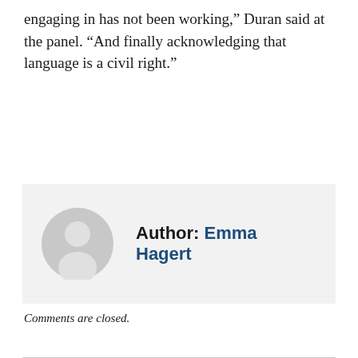engaging in has not been working,” Duran said at the panel. “And finally acknowledging that language is a civil right.”
[Figure (illustration): Author bio box with a gray placeholder avatar icon on the left and the text 'Author: Emma Hagert' on the right, on a light gray background.]
Comments are closed.